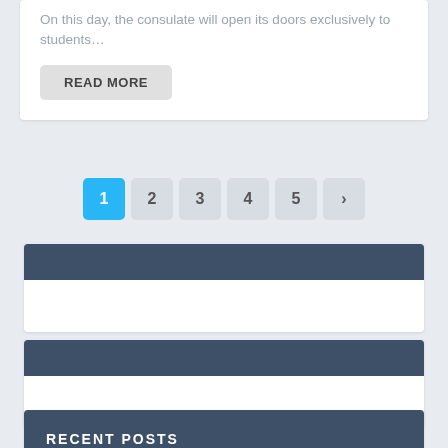On this day, the consulate will open its doors exclusively to students…
READ MORE
1 2 3 4 5 >
RECENT POSTS